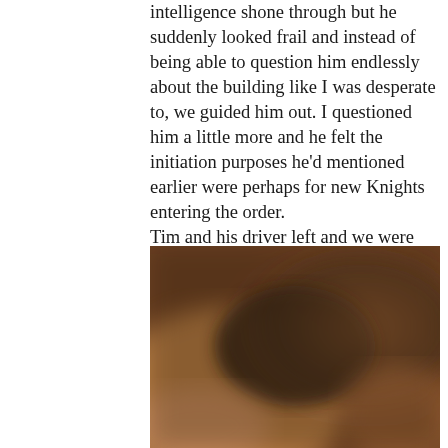intelligence shone through but he suddenly looked frail and instead of being able to question him endlessly about the building like I was desperate to, we guided him out. I questioned him a little more and he felt the initiation purposes he'd mentioned earlier were perhaps for new Knights entering the order.
Tim and his driver left and we were again overcome with the history and the mystery of La Grange.
[Figure (photo): A blurred photograph showing warm brown and dark tones, possibly an interior or architectural detail related to La Grange.]